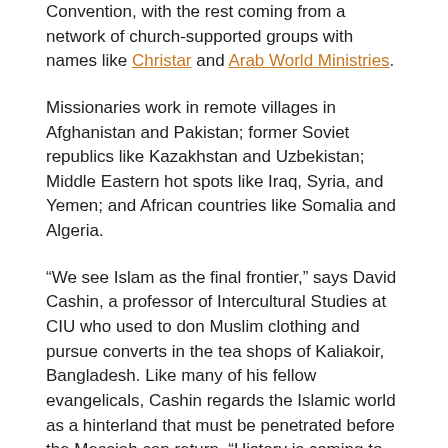Convention, with the rest coming from a network of church-supported groups with names like Christar and Arab World Ministries.
Missionaries work in remote villages in Afghanistan and Pakistan; former Soviet republics like Kazakhstan and Uzbekistan; Middle Eastern hot spots like Iraq, Syria, and Yemen; and African countries like Somalia and Algeria.
“We see Islam as the final frontier,” says David Cashin, a professor of Intercultural Studies at CIU who used to don Muslim clothing and pursue converts in the tea shops of Kaliakoir, Bangladesh. Like many of his fellow evangelicals, Cashin regards the Islamic world as a hinterland that must be penetrated before the Messiah can return. “History is coming to an end,” he says. “If you believe Christ is coming back, why has he delayed 2,000 years? We haven’t finished the task he set out to do.” That task, he says, is to win converts among all the world’s ethnic groups.
The growing movement to hunt souls in Muslim lands—by missionaries who often pass as aid workers, teachers, or